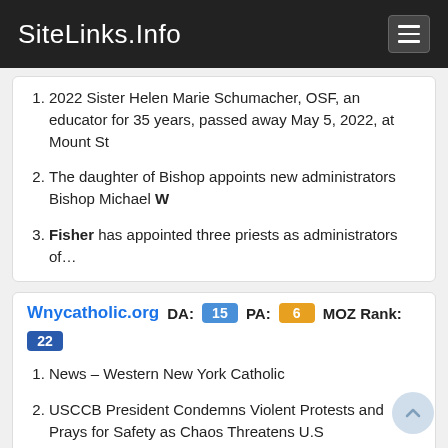SiteLinks.Info
2022 Sister Helen Marie Schumacher, OSF, an educator for 35 years, passed away May 5, 2022, at Mount St
The daughter of Bishop appoints new administrators Bishop Michael W
Fisher has appointed three priests as administrators of…
Wnycatholic.org  DA: 15  PA: 6  MOZ Rank: 22
News – Western New York Catholic
USCCB President Condemns Violent Protests and Prays for Safety as Chaos Threatens U.S
WASHINGTON —Archbishop José H
Gomez of Los Angeles, president of the U.S
Conference of Catholic Bishops (USCCB), issued the following